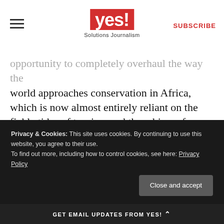yes! Solutions Journalism | SUBSCRIBE
opportunity to completely overhaul the way the world approaches conservation in Africa, which is now almost entirely reliant on the fickle tides of tourism and the whims of donors. Through the fog of struggle and loss, conservationists see a chance to rebuild the status quo into something that is significantly more self-sustaining, resilient, and equitable.

Doing so, however, would require an overhaul in how the world values and contributes to
Privacy & Cookies: This site uses cookies. By continuing to use this website, you agree to their use.
To find out more, including how to control cookies, see here: Privacy Policy
[Close and accept]
GET EMAIL UPDATES FROM YES!